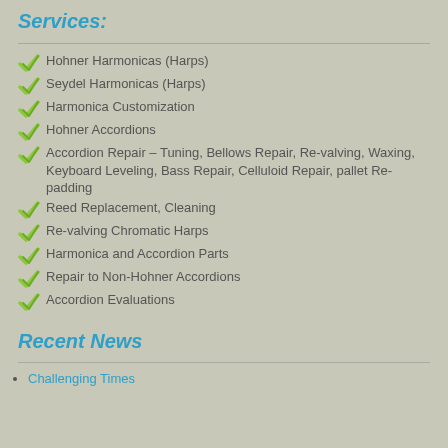Services:
Hohner Harmonicas (Harps)
Seydel Harmonicas (Harps)
Harmonica Customization
Hohner Accordions
Accordion Repair – Tuning, Bellows Repair, Re-valving, Waxing, Keyboard Leveling, Bass Repair, Celluloid Repair, pallet Re-padding
Reed Replacement, Cleaning
Re-valving Chromatic Harps
Harmonica and Accordion Parts
Repair to Non-Hohner Accordions
Accordion Evaluations
Recent News
Challenging Times